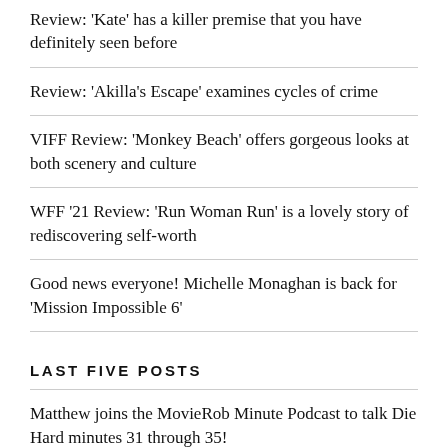Review: 'Kate' has a killer premise that you have definitely seen before
Review: 'Akilla's Escape' examines cycles of crime
VIFF Review: 'Monkey Beach' offers gorgeous looks at both scenery and culture
WFF '21 Review: 'Run Woman Run' is a lovely story of rediscovering self-worth
Good news everyone! Michelle Monaghan is back for 'Mission Impossible 6'
LAST FIVE POSTS
Matthew joins the MovieRob Minute Podcast to talk Die Hard minutes 31 through 35!
Podcast: Honk for Jesus. Save Your Soul & Three